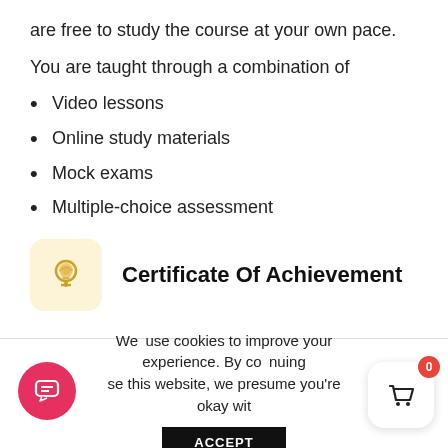are free to study the course at your own pace.
You are taught through a combination of
Video lessons
Online study materials
Mock exams
Multiple-choice assessment
[Figure (illustration): Light bulb icon on a yellow/cream rounded square background representing Certificate Of Achievement]
Certificate Of Achievement
Endorsed Certificate of Achievement from the Quality Licence Scheme
We use cookies to improve your experience. By continuing to use this website, we presume you're okay with
ACCEPT